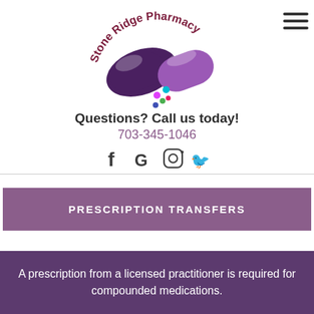[Figure (logo): Stone Ridge Pharmacy logo: pill capsule graphic in dark purple and light purple with colored dots, and curved text 'Stone Ridge Pharmacy' above]
Questions? Call us today!
703-345-1046
[Figure (illustration): Social media icons: Facebook, Google, Instagram, Twitter]
PRESCRIPTION TRANSFERS
A prescription from a licensed practitioner is required for compounded medications.